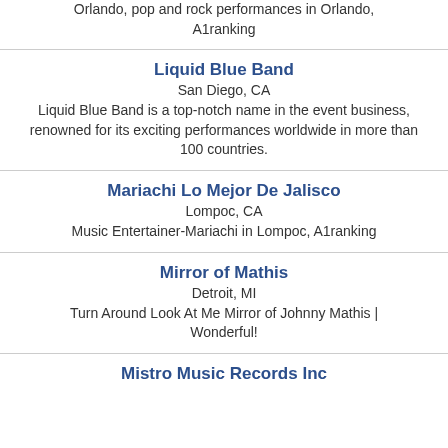Orlando, pop and rock performances in Orlando, A1ranking
Liquid Blue Band
San Diego, CA
Liquid Blue Band is a top-notch name in the event business, renowned for its exciting performances worldwide in more than 100 countries.
Mariachi Lo Mejor De Jalisco
Lompoc, CA
Music Entertainer-Mariachi in Lompoc, A1ranking
Mirror of Mathis
Detroit, MI
Turn Around Look At Me Mirror of Johnny Mathis | Wonderful!
Mistro Music Records Inc